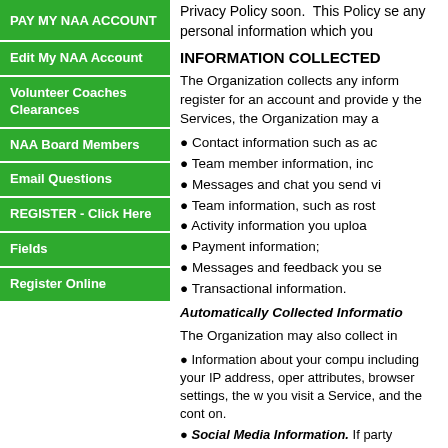PAY MY NAA ACCOUNT
Edit My NAA Account
Volunteer Coaches Clearances
NAA Board Members
Email Questions
REGISTER - Click Here
Fields
Register Online
Privacy Policy soon. This Policy set any personal information which you
INFORMATION COLLECTED
The Organization collects any inform register for an account and provide y the Services, the Organization may a
Contact information such as ac
Team member information, inc
Messages and chat you send vi
Team information, such as rost
Activity information you uploa
Payment information;
Messages and feedback you se
Transactional information.
Automatically Collected Informatio
The Organization may also collect in
Information about your compu including your IP address, oper attributes, browser settings, the w you visit a Service, and the cont on.
Social Media Information. If party platforms, such as Facebo depending on your privacy settin